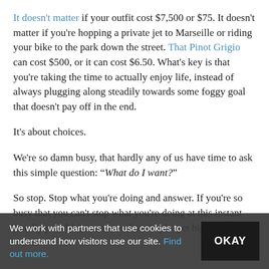It doesn't matter if your outfit cost $7,500 or $75.  It doesn't matter if you're hopping a private jet to Marseille or riding your bike to the park down the street.  That Pinot Grigio can cost $500, or it can cost $6.50.  What's key is that you're taking the time to actually enjoy life, instead of always plugging along steadily towards some foggy goal that doesn't pay off in the end.
It's about choices.
We're so damn busy, that hardly any of us have time to ask this simple question:  "What do I want?"
So stop.  Stop what you're doing and answer.  If you're so busy that you can't stop what you're doing at this instant (totally possible) to answer that simple, yet big, question,
We work with partners that use cookies to understand how visitors use our site. Find out more.